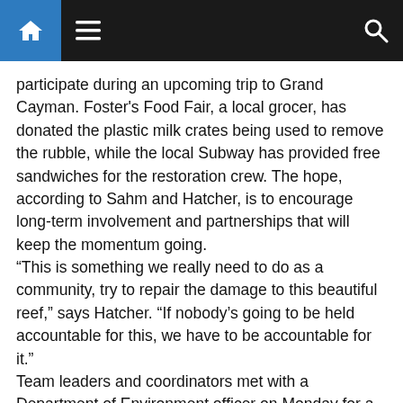Navigation bar with home, menu, and search icons
participate during an upcoming trip to Grand Cayman. Foster's Food Fair, a local grocer, has donated the plastic milk crates being used to remove the rubble, while the local Subway has provided free sandwiches for the restoration crew. The hope, according to Sahm and Hatcher, is to encourage long-term involvement and partnerships that will keep the momentum going.
“This is something we really need to do as a community, try to repair the damage to this beautiful reef,” says Hatcher. “If nobody’s going to be held accountable for this, we have to be accountable for it.”
Team leaders and coordinators met with a Department of Environment officer on Monday for a project review, and the results according to the DOE, are encouraging because of the progress that has already been done.
The project has an on-going need for more volunteers and